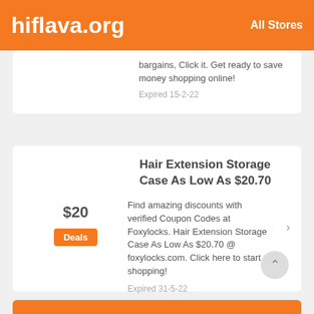hiflava.org   All Stores
bargains, Click it. Get ready to save money shopping online!
Expired 15-2-22
Hair Extension Storage Case As Low As $20.70
$20
Deals
Find amazing discounts with verified Coupon Codes at Foxylocks. Hair Extension Storage Case As Low As $20.70 @ foxylocks.com. Click here to start shopping!
Expired 31-5-22